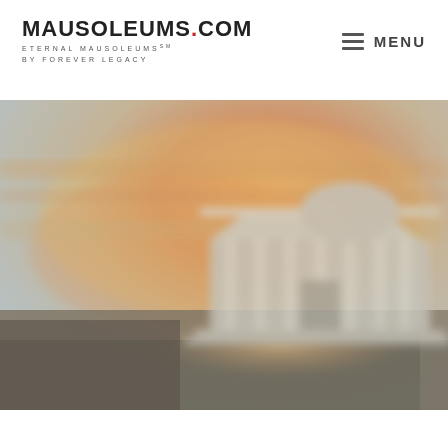[Figure (logo): Mausoleums.com logo with tagline 'Eternal Mausoleums by Forever Legacy']
MENU
[Figure (photo): Blurred background photo of a mausoleum building at sunset with warm orange and golden sky tones, a classical stone structure with columns visible in the center-right area]